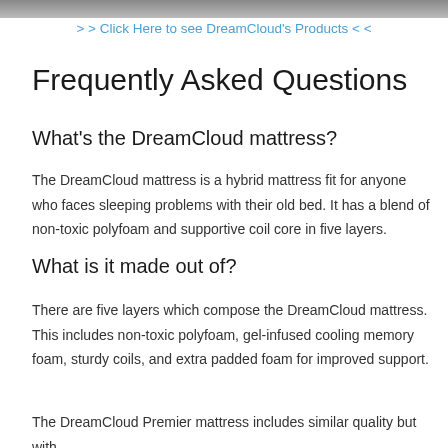[Figure (photo): Partial image strip at top of page showing a mattress or bedroom scene]
> > Click Here to see DreamCloud's Products < <
Frequently Asked Questions
What's the DreamCloud mattress?
The DreamCloud mattress is a hybrid mattress fit for anyone who faces sleeping problems with their old bed. It has a blend of non-toxic polyfoam and supportive coil core in five layers.
What is it made out of?
There are five layers which compose the DreamCloud mattress. This includes non-toxic polyfoam, gel-infused cooling memory foam, sturdy coils, and extra padded foam for improved support.
The DreamCloud Premier mattress includes similar quality but with